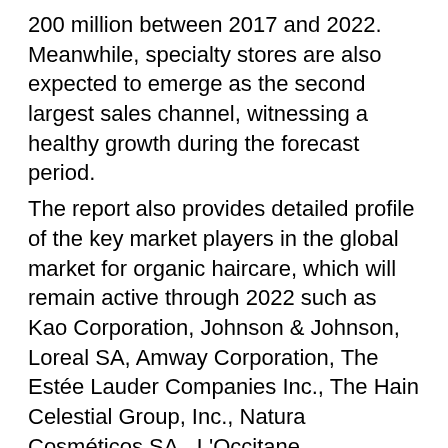200 million between 2017 and 2022. Meanwhile, specialty stores are also expected to emerge as the second largest sales channel, witnessing a healthy growth during the forecast period. The report also provides detailed profile of the key market players in the global market for organic haircare, which will remain active through 2022 such as Kao Corporation, Johnson & Johnson, Loreal SA, Amway Corporation, The Estée Lauder Companies Inc., The Hain Celestial Group, Inc., Natura Cosméticos SA., L'Occitane International SA., Kiehl's, and The Body Shop Inc. Send an Inquiry @ https://www.factmr.com/connectus/sample?flag=AE&rep_id=278 About FactMR